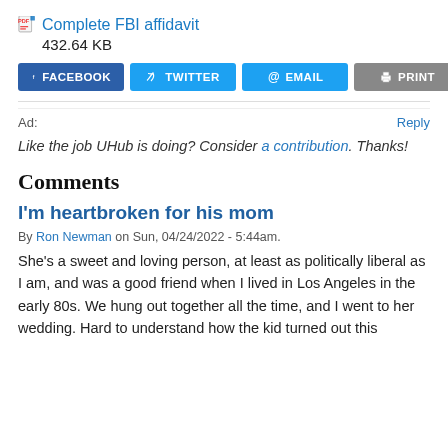Complete FBI affidavit
432.64 KB
[Figure (other): Social share buttons: FACEBOOK, TWITTER, EMAIL, PRINT]
Ad:
Reply
Like the job UHub is doing? Consider a contribution. Thanks!
Comments
I'm heartbroken for his mom
By Ron Newman on Sun, 04/24/2022 - 5:44am.
She's a sweet and loving person, at least as politically liberal as I am, and was a good friend when I lived in Los Angeles in the early 80s. We hung out together all the time, and I went to her wedding. Hard to understand how the kid turned out this